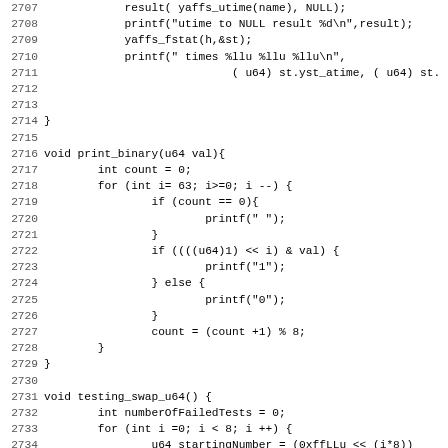Source code listing, lines 2707-2739, showing C functions print_binary and testing_swap_u64